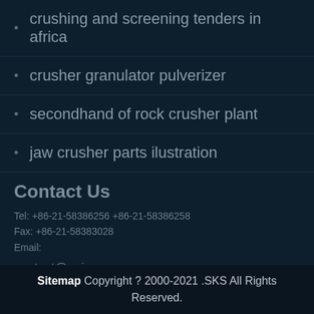crushing and screening tenders in africa
crusher granulator pulverizer
secondhand of rock crusher plant
jaw crusher parts ilustration
Contact Us
Tel: +86-21-58386256 +86-21-58386258
Fax: +86-21-58383028
Email:

contact@pejaw.com
Sitemap Copyright ? 2000-2021 .SKS All Rights Reserved.